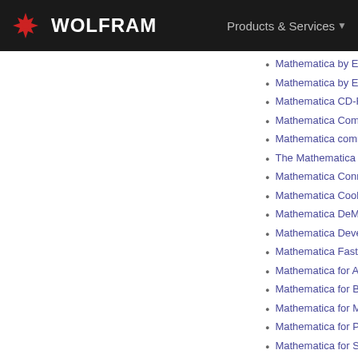WOLFRAM | Products & Services
Mathematica by Example, Revised Edition (Japanese tr...) [in Books]
Mathematica by Example, Second Edition [in Books]
Mathematica CD-ROM Library [in Books]
Mathematica Command Line Interface [in Conference Pro...]
Mathematica comme outil de capitalisation et du savoir-f...
The Mathematica Compiler [in Conference Proceedings]
Mathematica Connectivity [in Conference Proceedings]
Mathematica Cookbook [in Books]
Mathematica DeMYSTiFied [in Books]
Mathematica Development [in Conference Proceedings]
Mathematica Fast-Time Modeling for Air Traffic Safety [i...]
Mathematica for Any Size Class [in Conference Proceedin...]
Mathematica for Brand-Spanking-New Users [in Confere...]
Mathematica for Mathematics, Physics and Engineers [i...]
Mathematica for Physics, Second Edition [in Books]
Mathematica for Scientists and Engineers [in Books]
Mathematica for Scientists and Engineers: Using Mathem...
Mathematica for Students [in Technical Notes]